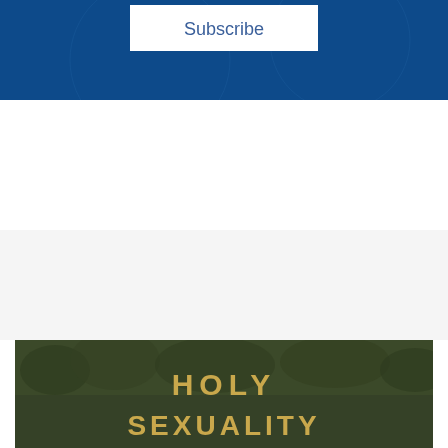[Figure (screenshot): Top portion showing a blue background with a white Subscribe button/box centered at the top]
[Figure (photo): Aerial photo of dense forest treetops with large golden text reading HOLY SEXUALITY overlaid on the image]